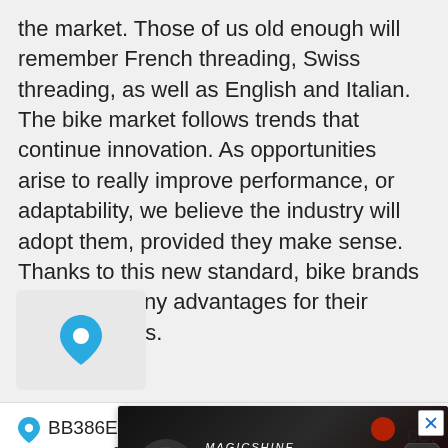the market. Those of us old enough will remember French threading, Swiss threading, as well as English and Italian. The bike market follows trends that continue innovation. As opportunities arise to really improve performance, or adaptability, we believe the industry will adopt them, provided they make sense. Thanks to this new standard, bike brands can have many advantages for their frame designs.
[Figure (infographic): A location pin icon on a light grey rounded rectangle background]
BB386EVO is more adaptable to a wider range of bike frames, while lowering the weight and
[Figure (photo): Magicshine advertisement banner showing bicycle lights with slogan 'Ride More. Enjoy More' on a dark background with red light visible]
ce.